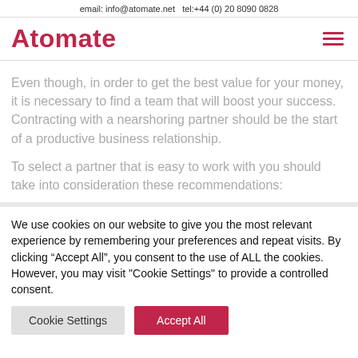email: info@atomate.net   tel:+44 (0) 20 8090 0828
Atomate
Even though, in order to get the best value for your money, it is necessary to find a team that will boost your success. Contracting with a nearshoring partner should be the start of a productive business relationship.
To select a partner that is easy to work with you should take into consideration these recommendations:
We use cookies on our website to give you the most relevant experience by remembering your preferences and repeat visits. By clicking “Accept All”, you consent to the use of ALL the cookies. However, you may visit "Cookie Settings" to provide a controlled consent.